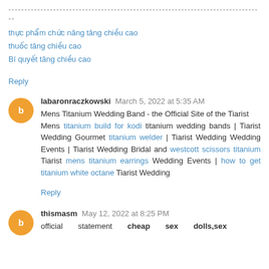--------------------------------------------------------------------------------
thực phẩm chức năng tăng chiều cao
thuốc tăng chiều cao
Bí quyết tăng chiều cao
Reply
labaronraczkowski March 5, 2022 at 5:35 AM
Mens Titanium Wedding Band - the Official Site of the Tiarist
Mens titanium build for kodi titanium wedding bands | Tiarist Wedding Gourmet titanium welder | Tiarist Wedding Wedding Events | Tiarist Wedding Bridal and westcott scissors titanium Tiarist mens titanium earrings Wedding Events | how to get titanium white octane Tiarist Wedding
Reply
thismasm May 12, 2022 at 8:25 PM
official statement cheap sex dolls,sex